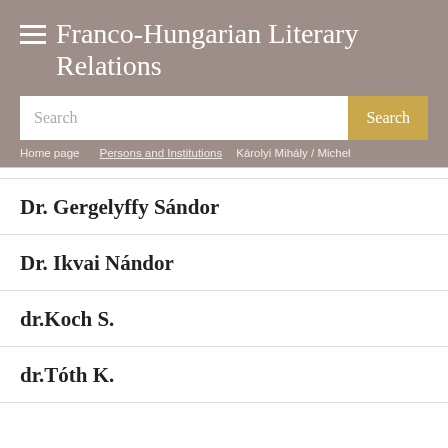Franco-Hungarian Literary Relations
Search
Home page | Persons and Institutions | Károlyi Mihály / Michel
Dr. Gergelyffy Sándor
Dr. Ikvai Nándor
dr.Koch S.
dr.Tóth K.